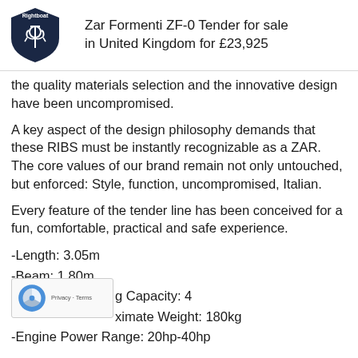Zar Formenti ZF-0 Tender for sale in United Kingdom for £23,925
the quality materials selection and the innovative design have been uncompromised.
A key aspect of the design philosophy demands that these RIBS must be instantly recognizable as a ZAR. The core values of our brand remain not only untouched, but enforced: Style, function, uncompromised, Italian.
Every feature of the tender line has been conceived for a fun, comfortable, practical and safe experience.
-Length: 3.05m
-Beam: 1.80m
-Seating Capacity: 4
-Approximate Weight: 180kg
-Engine Power Range: 20hp-40hp